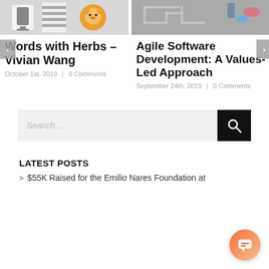[Figure (photo): Thumbnail image for Words with Herbs - Vivian Wang article, showing a microphone and lion character illustration]
[Figure (photo): Thumbnail image for Agile Software Development article, showing people working on a puzzle drawn on chalkboard]
Words with Herbs – Vivian Wang
October 1st, 2019  |  0 Comments
Agile Software Development: A Values-Led Approach
September 24th, 2019  |  0 Comments
Search ...
LATEST POSTS
$55K Raised for the Emilio Nares Foundation at